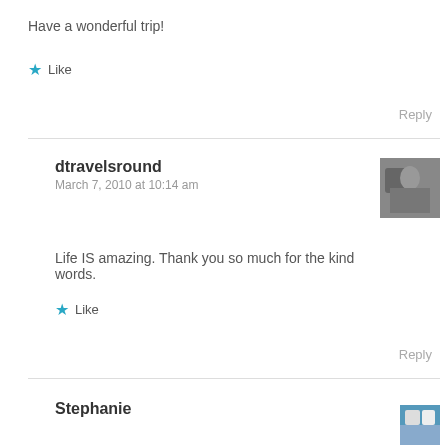Have a wonderful trip!
★ Like
Reply
dtravelsround
March 7, 2010 at 10:14 am
Life IS amazing. Thank you so much for the kind words.
★ Like
Reply
Stephanie